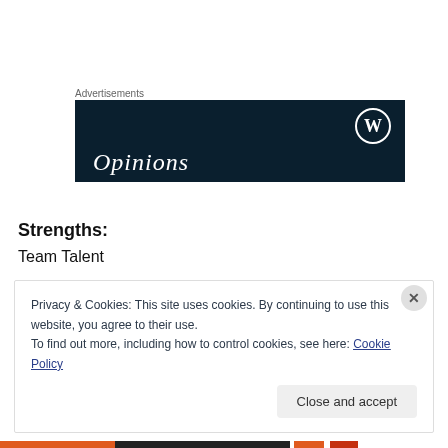Advertisements
[Figure (screenshot): Dark navy blue advertisement banner with WordPress logo (W in circle) in top right and the word 'Opinions' in large serif white text at the bottom left]
Strengths:
Team Talent
Privacy & Cookies: This site uses cookies. By continuing to use this website, you agree to their use.
To find out more, including how to control cookies, see here: Cookie Policy
Close and accept